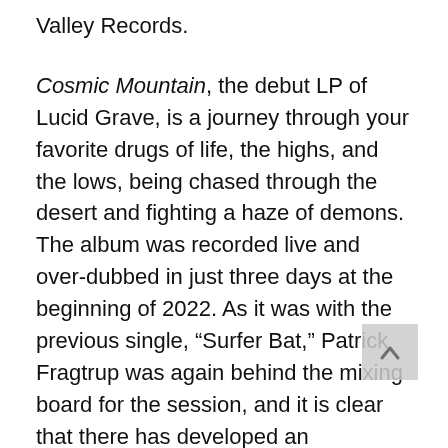Valley Records.
Cosmic Mountain, the debut LP of Lucid Grave, is a journey through your favorite drugs of life, the highs, and the lows, being chased through the desert and fighting a haze of demons. The album was recorded live and over-dubbed in just three days at the beginning of 2022. As it was with the previous single, “Surfer Bat,” Patrick Fragtrup was again behind the mixing board for the session, and it is clear that there has developed an understanding between him and the band as this record sounds both huge and fierce without losing any clarity or energy from the group. The project was finished by Shane Trimble of High Reaper at his